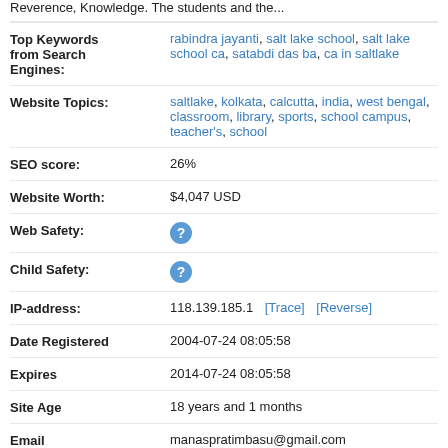Reverence, Knowledge. The students and the...
| Top Keywords from Search Engines: | rabindra jayanti, salt lake school, salt lake school ca, satabdi das ba, ca in saltlake |
| Website Topics: | saltlake, kolkata, calcutta, india, west bengal, classroom, library, sports, school campus, teacher's, school |
| SEO score: | 26% |
| Website Worth: | $4,047 USD |
| Web Safety: | ? |
| Child Safety: | ? |
| IP-address: | 118.139.185.1  [Trace]  [Reverse] |
| Date Registered | 2004-07-24 08:05:58 |
| Expires | 2014-07-24 08:05:58 |
| Site Age | 18 years and 1 months |
| Email | manaspratimbasu@gmail.com |
| Owner | Accleron System ( Manas Pratim Basu ) |